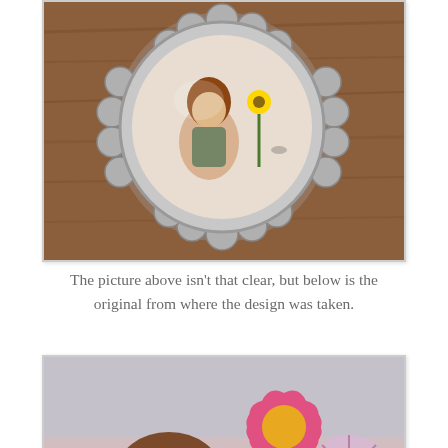[Figure (photo): A silver scalloped-edge oval pendant/brooch resting on a wooden surface. Inside the glass-domed pendant is a painted illustration of a girl with reddish-brown hair holding a sunflower.]
The picture above isn't that clear, but below is the original from where the design was taken.
[Figure (photo): A child's drawing or painting of a young girl with brown hair looking up, surrounded by colorful stylized flowers — a large pink daisy, a yellow button flower, and a lavender pinwheel flower — on a soft pink and blue background.]